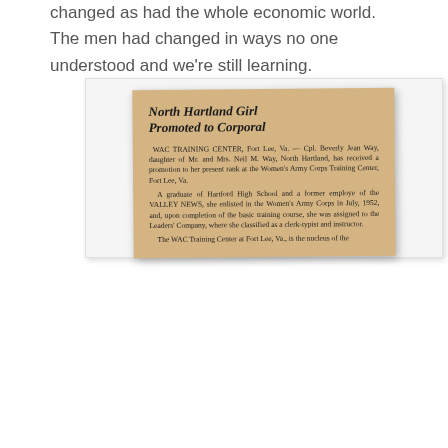changed as had the whole economic world. The men had changed in ways no one understood and we're still learning.
[Figure (photo): A scanned newspaper clipping with headline 'North Hartland Girl Promoted to Corporal' and body text about Cpl. Beverly Jean Way receiving a promotion at WAC Training Center, Fort Lee, Va.]